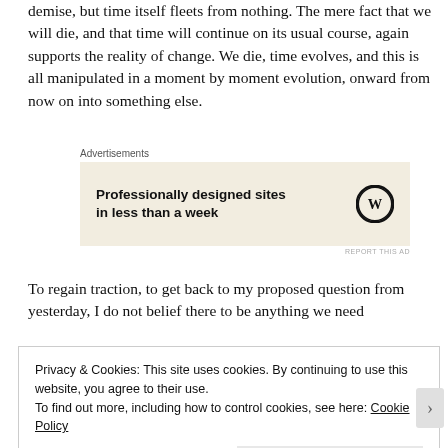demise, but time itself fleets from nothing. The mere fact that we will die, and that time will continue on its usual course, again supports the reality of change. We die, time evolves, and this is all manipulated in a moment by moment evolution, onward from now on into something else.
[Figure (other): Advertisement box with WordPress logo and text 'Professionally designed sites in less than a week']
To regain traction, to get back to my proposed question from yesterday, I do not belief there to be anything we need
Privacy & Cookies: This site uses cookies. By continuing to use this website, you agree to their use.
To find out more, including how to control cookies, see here: Cookie Policy